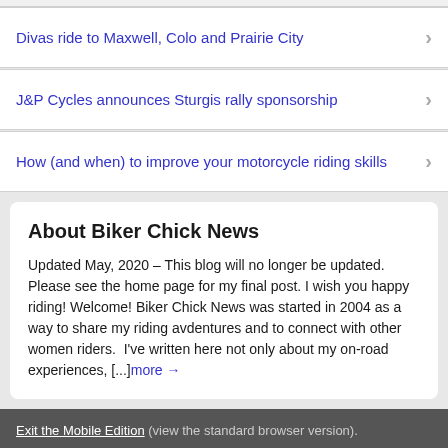Divas ride to Maxwell, Colo and Prairie City
J&P Cycles announces Sturgis rally sponsorship
How (and when) to improve your motorcycle riding skills
About Biker Chick News
Updated May, 2020 – This blog will no longer be updated. Please see the home page for my final post. I wish you happy riding! Welcome! Biker Chick News was started in 2004 as a way to share my riding avdentures and to connect with other women riders.  I've written here not only about my on-road experiences, [...]more →
Exit the Mobile Edition (view the standard browser version).
Proudly powered by WordPress and Carrington. Log in
WordPress Mobile Edition available from Crowd Favorite.
CARRINGTON FRAMEWORK BY Crowd Favorite